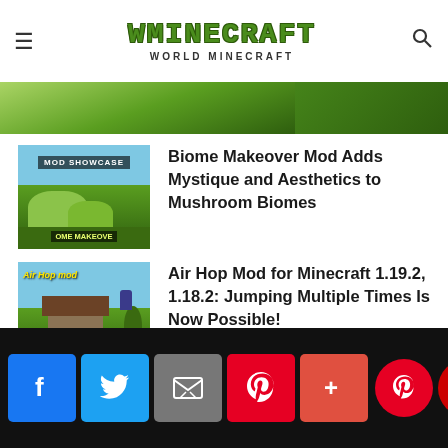WMINECRAFT - WORLD MINECRAFT
[Figure (screenshot): Partial cropped image strip at top of content area]
[Figure (screenshot): Mod Showcase thumbnail with Biome Makeover label and green landscape]
Biome Makeover Mod Adds Mystique and Aesthetics to Mushroom Biomes
[Figure (screenshot): Air Hop mod thumbnail with yellow text over blue sky and house]
Air Hop Mod for Minecraft 1.19.2, 1.18.2: Jumping Multiple Times Is Now Possible!
Social share buttons: Facebook, Twitter, Email, Pinterest, Share, Pinterest circle, YouTube circle, Scroll-to-top